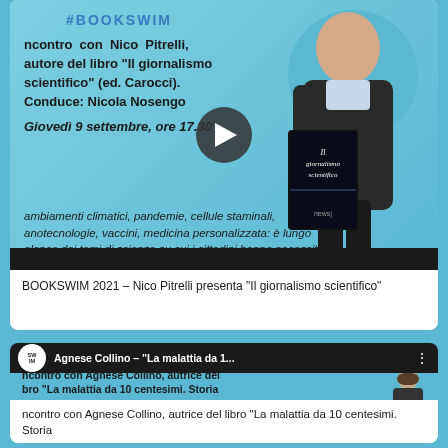[Figure (screenshot): Video thumbnail for BOOKSWIM 2021 - Nico Pitrelli presenting 'Il giornalismo scientifico'. Shows #BOOKSWIM hashtag in blue, bold Italian text about the event with Nico Pitrelli holding the book 'Il giornalismo scientifico' ed. Carocci, date Giovedì 9 settembre ore 17.30, italic subtitle text about climate change pandemics stem cells nanotechnology vaccines personalized medicine, play button overlay, dark bar at bottom.]
BOOKSWIM 2021 – Nico Pitrelli presenta "Il giornalismo scientifico"
[Figure (screenshot): Video thumbnail for Agnese Collino - 'La malattia da 1...' showing a dark header bar with SWIM logo circle, video title, and three-dot menu. Below shows teal background with text about an encounter with Agnese Collino, autrice del libro 'La malattia da 10 centesimi. Storia' and a photo of a woman on the right.]